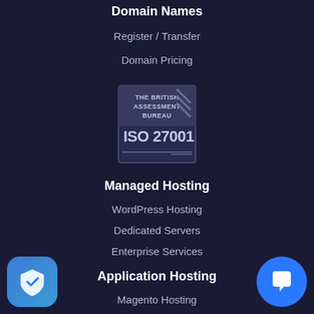Domain Names
Register / Transfer
Domain Pricing
[Figure (logo): The British Assessment Bureau ISO 27001 certification logo]
Managed Hosting
WordPress Hosting
Dedicated Servers
Enterprise Services
Application Hosting
Magento Hosting
Ecommerce Hosting
CMS Hosting